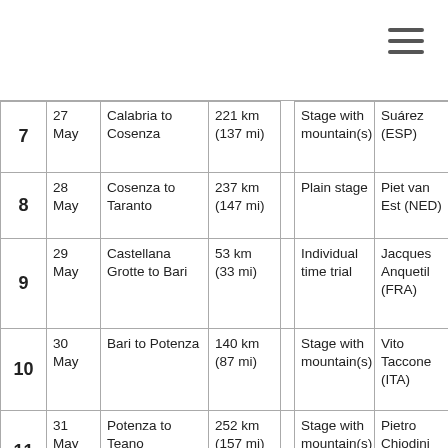| Stage | Date | Route | Distance |  | Type | Winner |
| --- | --- | --- | --- | --- | --- | --- |
| 7 | 27 May | Calabria to Cosenza | 221 km (137 mi) |  | Stage with mountain(s) | Suárez (ESP) |
| 8 | 28 May | Cosenza to Taranto | 237 km (147 mi) |  | Plain stage | Piet van Est (NED) |
| 9 | 29 May | Castellana Grotte to Bari | 53 km (33 mi) |  | Individual time trial | Jacques Anquetil (FRA) |
| 10 | 30 May | Bari to Potenza | 140 km (87 mi) |  | Stage with mountain(s) | Vito Taccone (ITA) |
| 11 | 31 May | Potenza to Teano | 252 km (157 mi) |  | Stage with mountain(s) | Pietro Chiodini (ITA) |
| 12 | 1 June | Gaeta to Rome | 149 km (93 mi) |  | Plain stage | Renato Giusti (ITA) |
| 13 | 2 June | Mentana to Castelfidardo | 279 km (173 mi) |  | Stage with mountain(s) | Rik Van Looy (BEL) |
|  |  |  |  |  |  | Silvano |